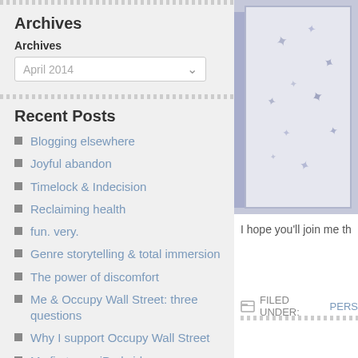Archives
Archives
April 2014
Recent Posts
Blogging elsewhere
Joyful abandon
Timelock & Indecision
Reclaiming health
fun. very.
Genre storytelling & total immersion
The power of discomfort
Me & Occupy Wall Street: three questions
Why I support Occupy Wall Street
My first-ever iPad video
Blogroll
[Figure (illustration): Book cover image with star decorations on a lavender/grey background with a spine visible on the left side]
I hope you'll join me th
FILED UNDER: PERS